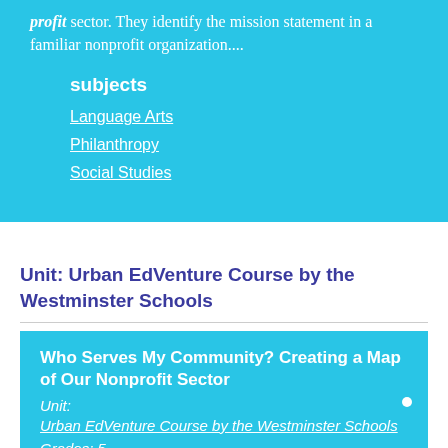profit sector. They identify the mission statement in a familiar nonprofit organization....
subjects
Language Arts
Philanthropy
Social Studies
Unit: Urban EdVenture Course by the Westminster Schools
Who Serves My Community? Creating a Map of Our Nonprofit Sector
Unit:
Urban EdVenture Course by the Westminster Schools
Grades: 5